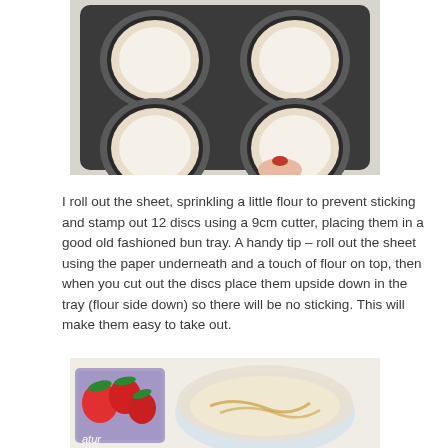[Figure (photo): A muffin/bun tray with circular pastry discs pressed into the cups, viewed from above. A hand with red nail polish is visible at the bottom right holding the tray.]
I roll out the sheet, sprinkling a little flour to prevent sticking and stamp out 12 discs using a 9cm cutter, placing them in a good old fashioned bun tray. A handy tip – roll out the sheet using the paper underneath and a touch of flour on top, then when you cut out the discs place them upside down in the tray (flour side down) so there will be no sticking. This will make them easy to take out.
[Figure (photo): A glass bowl containing a creamy or egg mixture with yellow streaks, alongside a container with fresh red strawberries and green leaves, on a white surface.]